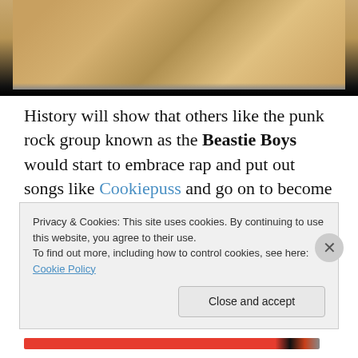[Figure (photo): Partial view of a person with blonde/brown hair against a light background, shown cropped at the top of the page]
History will show that others like the punk rock group known as the Beastie Boys would start to embrace rap and put out songs like Cookiepuss and go on to become Hip Hop's first meaningful white act.
Pioneering groups like the Cold Crush Brothers would release songs like 'Punk Rock Rap' while Flash and his crew did songs like new wave influenced songs like
Privacy & Cookies: This site uses cookies. By continuing to use this website, you agree to their use.
To find out more, including how to control cookies, see here: Cookie Policy
Close and accept